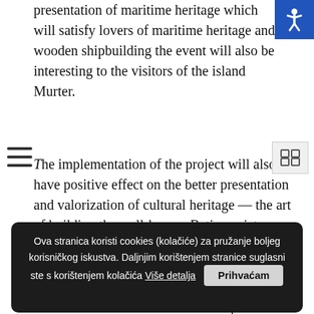presentation of maritime heritage which will satisfy lovers of maritime heritage and wooden shipbuilding the event will also be interesting to the visitors of the island Murter.
The implementation of the project will also have positive effect on the better presentation and valorization of cultural heritage — the art of building the well-known Betina gajeta, a greater awareness of the importance of preserving maritime heritage and the efficiency and availability of knowledge and skills needed to build a wooden ship.
in News
Ova stranica koristi cookies (kolačiće) za pružanje boljeg korisničkog iskustva. Daljnjim korištenjem stranice suglasni ste s korištenjem kolačića Više detalja
HR5424070001100432459 OTP